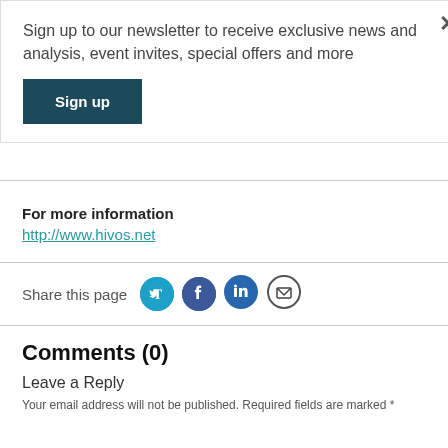Sign up to our newsletter to receive exclusive news and analysis, event invites, special offers and more
Sign up
For more information
http://www.hivos.net
Share this page
Comments (0)
Leave a Reply
Your email address will not be published. Required fields are marked *